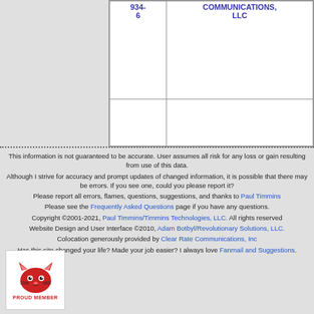| 934-6 | COMMUNICATIONS, LLC |
This information is not guaranteed to be accurate. User assumes all risk for any loss or gain resulting from use of this data. Although I strive for accuracy and prompt updates of changed information, it is possible that there may be errors. If you see one, could you please report it? Please report all errors, flames, questions, suggestions, and thanks to Paul Timmins Please see the Frequently Asked Questions page if you have any questions. Copyright ©2001-2021, Paul Timmins/Timmins Technologies, LLC. All rights reserved Website Design and User Interface ©2010, Adam Botbyl/Revolutionary Solutions, LLC. Colocation generously provided by Clear Rate Communications, Inc Has this site changed your life? Made your job easier? I always love Fanmail and Suggestions.
[Figure (logo): Red cartoon cat face logo with PROUD MEMBER text below]